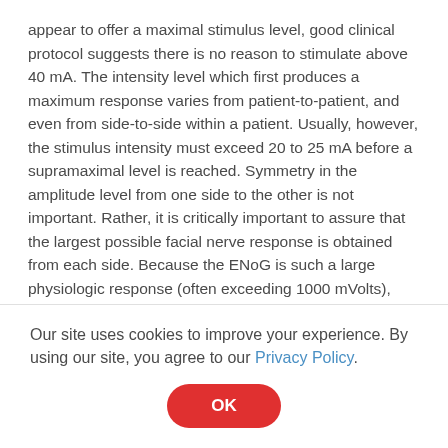appear to offer a maximal stimulus level, good clinical protocol suggests there is no reason to stimulate above 40 mA. The intensity level which first produces a maximum response varies from patient-to-patient, and even from side-to-side within a patient. Usually, however, the stimulus intensity must exceed 20 to 25 mA before a supramaximal level is reached. Symmetry in the amplitude level from one side to the other is not important. Rather, it is critically important to assure that the largest possible facial nerve response is obtained from each side. Because the ENoG is such a large physiologic response (often exceeding 1000 mVolts), and few (1 to 10) stimulus presentations are
Our site uses cookies to improve your experience. By using our site, you agree to our Privacy Policy.
OK